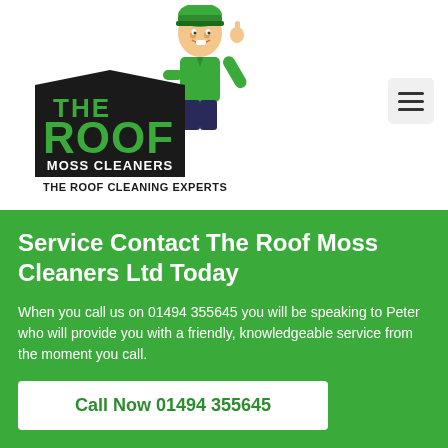[Figure (logo): The Roof Moss Cleaners logo with cartoon man in green uniform pointing up, large bold text 'THE ROOF' in green with black outline, 'MOSS CLEANERS' on dark banner, tagline 'THE ROOF CLEANING EXPERTS' below]
Service Contact The Roof Moss Cleaners Ltd Today
When you call us on 01494 355645 you will be speaking to Peter who will provide you with a friendly, knowledgeable service from the moment you call.
Call Now 01494 355645